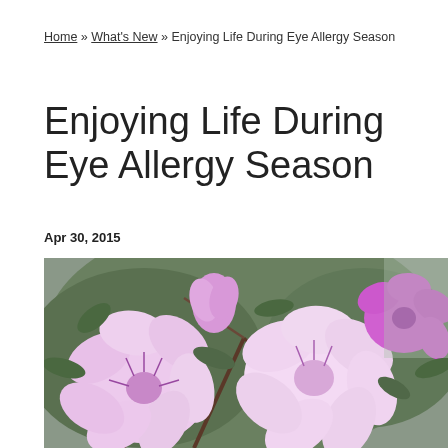Home » What's New » Enjoying Life During Eye Allergy Season
Enjoying Life During Eye Allergy Season
Apr 30, 2015
[Figure (photo): Close-up photograph of pink azalea flowers in bloom with green leaves and branches, soft pink petals with darker pink center markings]